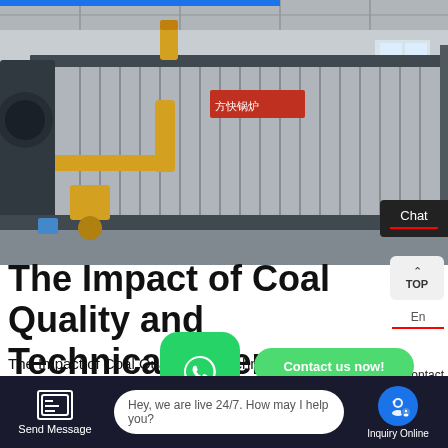[Figure (photo): Industrial coal spreader stoker boiler with corrugated metal casing, yellow piping, inside a factory/warehouse setting.]
Chat
The Impact of Coal Quality and Technical Opera...
En
TOP
Contact us now!
Contact
The Impact of Coal Quality and Technical Operating Conditions on the Efficiency of a Spreader Stoker Boiler
Hey, we are live 24/7. How may I help you?
Send Message
Inquiry Online